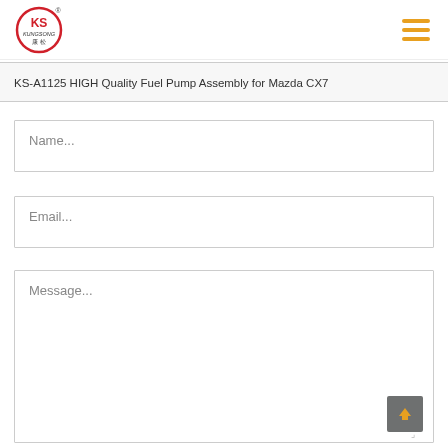KS KUNGSONG logo and navigation menu
KS-A1125 HIGH Quality Fuel Pump Assembly for Mazda CX7
Name...
Email...
Message...